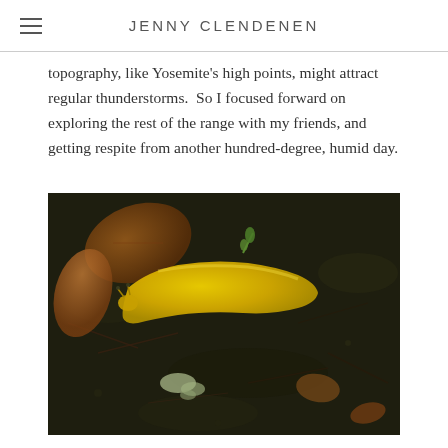JENNY CLENDENEN
topography, like Yosemite's high points, might attract regular thunderstorms.  So I focused forward on exploring the rest of the range with my friends, and getting respite from another hundred-degree, humid day.
[Figure (photo): A bright yellow banana slug crawling on dark forest floor soil, surrounded by dead leaves, pine needles, and small patches of lichen.]